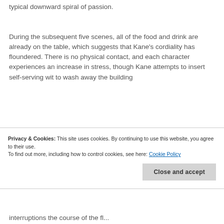typical downward spiral of passion.
During the subsequent five scenes, all of the food and drink are already on the table, which suggests that Kane's cordiality has floundered. There is no physical contact, and each character experiences an increase in stress, though Kane attempts to insert self-serving wit to wash away the building
Privacy & Cookies: This site uses cookies. By continuing to use this website, you agree to their use.
To find out more, including how to control cookies, see here: Cookie Policy
Close and accept
interruptions the course of the fl...